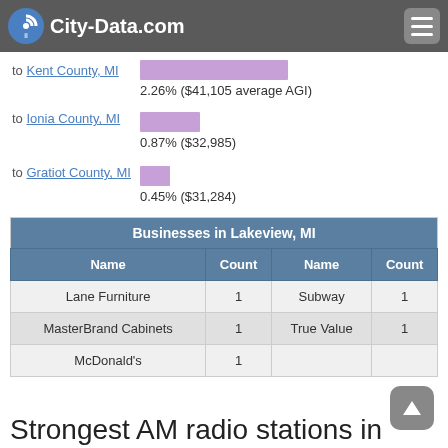City-Data.com
Top counties to which taxpayers relocated from this county between 2015 and 2016:
to Kent County, MI — 2.26% ($41,105 average AGI)
to Ionia County, MI — 0.87% ($32,985)
to Gratiot County, MI — 0.45% ($31,284)
| Name | Count | Name | Count |
| --- | --- | --- | --- |
| Lane Furniture | 1 | Subway | 1 |
| MasterBrand Cabinets | 1 | True Value | 1 |
| McDonald's | 1 |  |  |
Strongest AM radio stations in